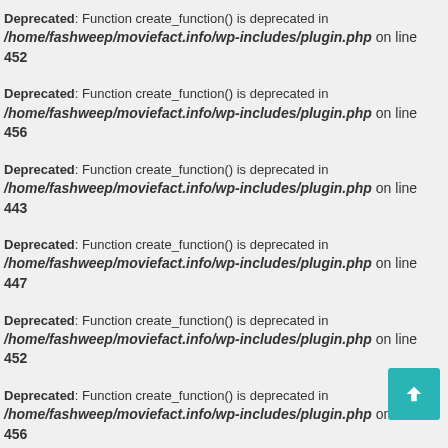Deprecated: Function create_function() is deprecated in /home/fashweep/moviefact.info/wp-includes/plugin.php on line 452
Deprecated: Function create_function() is deprecated in /home/fashweep/moviefact.info/wp-includes/plugin.php on line 456
Deprecated: Function create_function() is deprecated in /home/fashweep/moviefact.info/wp-includes/plugin.php on line 443
Deprecated: Function create_function() is deprecated in /home/fashweep/moviefact.info/wp-includes/plugin.php on line 447
Deprecated: Function create_function() is deprecated in /home/fashweep/moviefact.info/wp-includes/plugin.php on line 452
Deprecated: Function create_function() is deprecated in /home/fashweep/moviefact.info/wp-includes/plugin.php on line 456